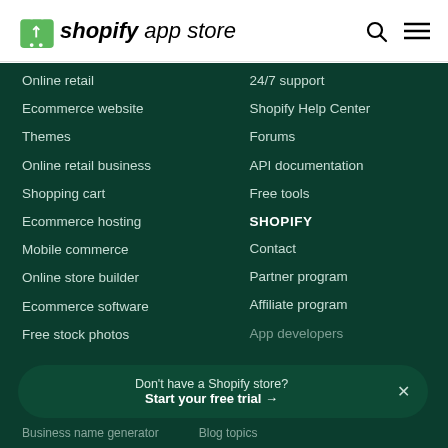shopify app store
Online retail
Ecommerce website
Themes
Online retail business
Shopping cart
Ecommerce hosting
Mobile commerce
Online store builder
Ecommerce software
Free stock photos
24/7 support
Shopify Help Center
Forums
API documentation
Free tools
SHOPIFY
Contact
Partner program
Affiliate program
App developers
Don't have a Shopify store? Start your free trial →
Blog topics
Business name generator